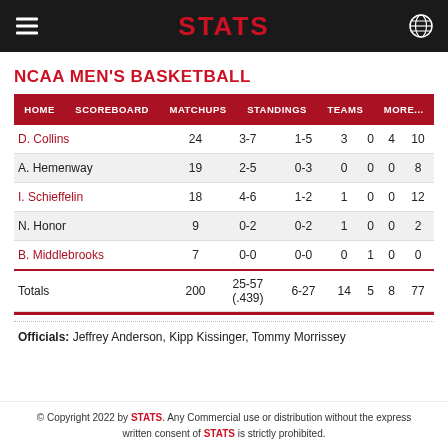STATS
NCAA MEN'S BASKETBALL
| HOME | SCOREBOARD | MATCHUPS | STANDINGS | TEAMS |  | MORE... |
| --- | --- | --- | --- | --- | --- | --- |
| D. Collins | 24 | 3-7 | 1-5 | 3 | 0 | 4 | 10 |
| A. Hemenway | 19 | 2-5 | 0-3 | 0 | 0 | 0 | 8 |
| I. Schieffelin | 18 | 4-6 | 1-2 | 1 | 0 | 0 | 12 |
| N. Honor | 9 | 0-2 | 0-2 | 1 | 0 | 0 | 2 |
| B. Middlebrooks | 7 | 0-0 | 0-0 | 0 | 1 | 0 | 0 |
| Totals | 200 | 25-57 (.439) | 6-27 | 14 | 5 | 8 | 77 |
Officials: Jeffrey Anderson, Kipp Kissinger, Tommy Morrissey
© Copyright 2022 by STATS. Any Commercial use or distribution without the express written consent of STATS is strictly prohibited.